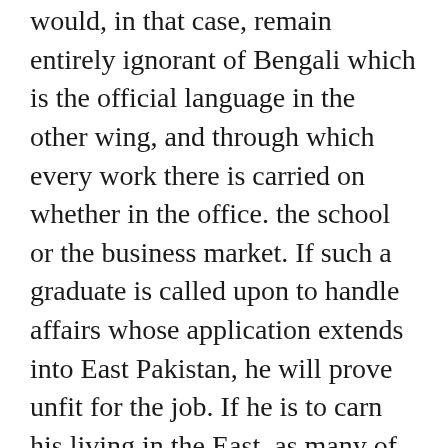would, in that case, remain entirely ignorant of Bengali which is the official language in the other wing, and through which every work there is carried on whether in the office. the school or the business market. If such a graduate is called upon to handle affairs whose application extends into East Pakistan, he will prove unfit for the job. If he is to carn his living in the East, as many of each wing will always be in need of doing so in the other zone of the State will find himself at sea with no knowledge of the language through which every affair here, whether public or private, is managed. Greatest difficulty will be faced by the Central Government whose officers and staff are always to handle matters relating to both the wings which they are ignorant cither of Bengali or of Urdu. Above all, such a scheme of education has